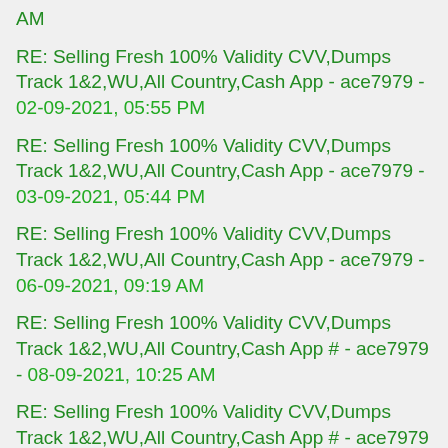AM
RE: Selling Fresh 100% Validity CVV,Dumps Track 1&2,WU,All Country,Cash App - ace7979 - 02-09-2021, 05:55 PM
RE: Selling Fresh 100% Validity CVV,Dumps Track 1&2,WU,All Country,Cash App - ace7979 - 03-09-2021, 05:44 PM
RE: Selling Fresh 100% Validity CVV,Dumps Track 1&2,WU,All Country,Cash App - ace7979 - 06-09-2021, 09:19 AM
RE: Selling Fresh 100% Validity CVV,Dumps Track 1&2,WU,All Country,Cash App # - ace7979 - 08-09-2021, 10:25 AM
RE: Selling Fresh 100% Validity CVV,Dumps Track 1&2,WU,All Country,Cash App # - ace7979 - 11-09-2021, 02:29 PM
RE: Selling Fresh 100% Validity CVV,Dumps Track 1&2,WU,All Country,Cash App - ace7979 - 13-09-2021, 09:58 AM
RE: Selling Fresh 100% Validity CVV,Dumps Track 1&2,WU,All Country,Cash App # - ace7979 - 15-09-2021, 07:59 AM
RE: Selling Fresh 100% Validity CVV,Dumps Track